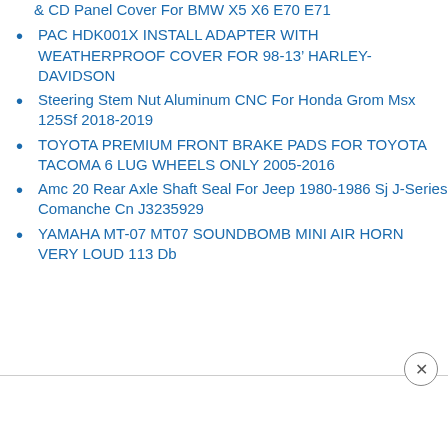& CD Panel Cover For BMW X5 X6 E70 E71
PAC HDK001X INSTALL ADAPTER WITH WEATHERPROOF COVER FOR 98-13' HARLEY-DAVIDSON
Steering Stem Nut Aluminum CNC For Honda Grom Msx 125Sf 2018-2019
TOYOTA PREMIUM FRONT BRAKE PADS FOR TOYOTA TACOMA 6 LUG WHEELS ONLY 2005-2016
Amc 20 Rear Axle Shaft Seal For Jeep 1980-1986 Sj J-Series Comanche Cn J3235929
YAMAHA MT-07 MT07 SOUNDBOMB MINI AIR HORN VERY LOUD 113 Db